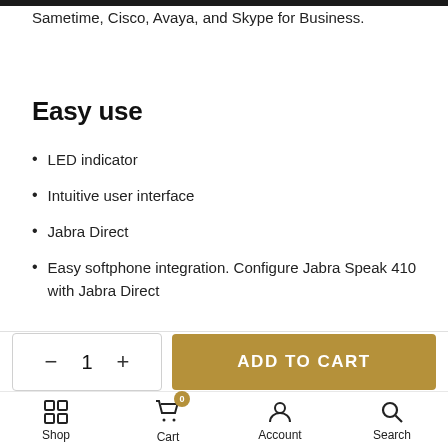Sametime, Cisco, Avaya, and Skype for Business.
Easy use
LED indicator
Intuitive user interface
Jabra Direct
Easy softphone integration. Configure Jabra Speak 410 with Jabra Direct
FAQ: What is the difference between the Jabra UC vs
Shop  Cart  Account  Search